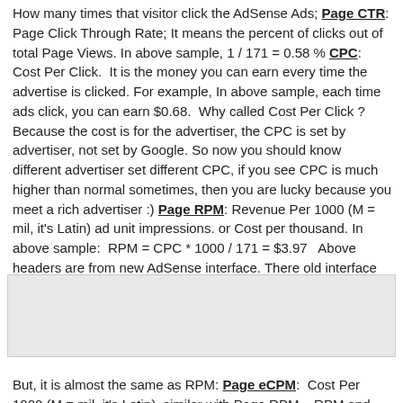How many times that visitor click the AdSense Ads; **Page CTR**: Page Click Through Rate; It means the percent of clicks out of total Page Views. In above sample, 1 / 171 = 0.58 % **CPC**:  Cost Per Click.  It is the money you can earn every time the advertise is clicked. For example, In above sample, each time ads click, you can earn $0.68.  Why called Cost Per Click ? Because the cost is for the advertiser, the CPC is set by advertiser, not set by Google. So now you should know different advertiser set different CPC, if you see CPC is much higher than normal sometimes, then you are lucky because you meet a rich advertiser :) **Page RPM**: Revenue Per 1000 (M = mil, it's Latin) ad unit impressions. or Cost per thousand. In above sample:  RPM = CPC * 1000 / 171 = $3.97   Above headers are from new AdSense interface. There old interface shown as following: There is a eCPM looks like different.
[Figure (screenshot): AdSense interface screenshot showing a table with columns: Page Impressions, Clicks, Page CTR, Page eCPM (2), Estimated earnings. Row: AdSense for Content, top channels, 1,037, 4, 0.39%, $1.67, $1.74. GoGoToTo.com watermark visible on left.]
But, it is almost the same as RPM: **Page eCPM**:  Cost Per 1000 (M = mil, it's Latin). similar with Page RPM.   RPM and CPM are not used to calculate the earnings currently.It's just a kind of statistic data. And, you might see the earnings in report is always